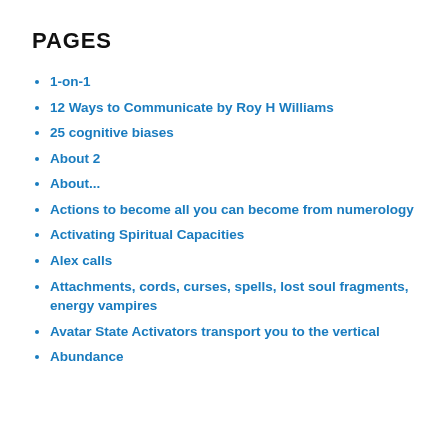PAGES
1-on-1
12 Ways to Communicate by Roy H Williams
25 cognitive biases
About 2
About...
Actions to become all you can become from numerology
Activating Spiritual Capacities
Alex calls
Attachments, cords, curses, spells, lost soul fragments, energy vampires
Avatar State Activators transport you to the vertical
Abundance